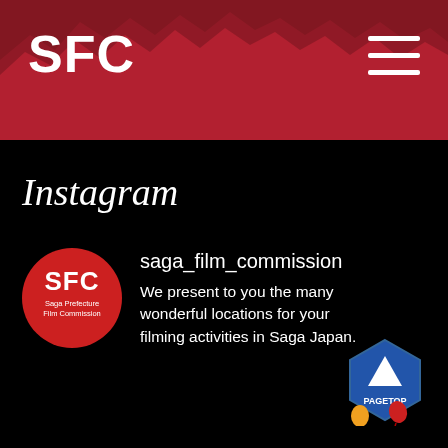SFC
Instagram
saga_film_commission
We present to you the many wonderful locations for your filming activities in Saga Japan.
[Figure (logo): PAGETOP badge with blue hexagon, arrow, and balloon decorations]